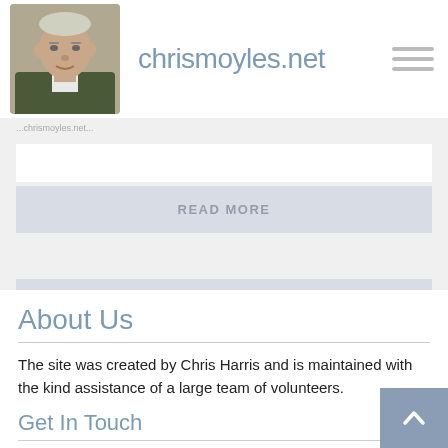chrismoyles.net
READ MORE
VIEW MORE TOPICS
About Us
The site was created by Chris Harris and is maintained with the kind assistance of a large team of volunteers.
Get In Touch
@c_hri_s